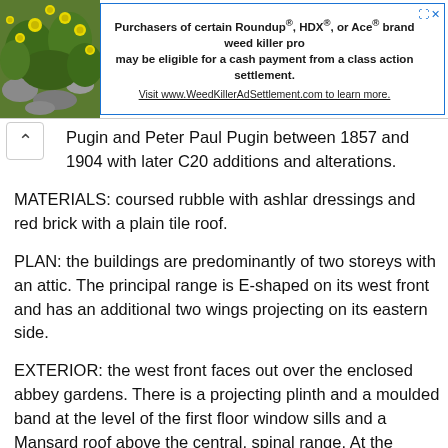[Figure (infographic): Advertisement banner. Left side shows a photo of yellow flowers and green foliage. Right side has text: 'Purchasers of certain Roundup®, HDX®, or Ace® brand weed killer products may be eligible for a cash payment from a class action settlement. Visit www.WeedKillerAdSettlement.com to learn more.' with expand and close icons.]
Pugin and Peter Paul Pugin between 1857 and 1904 with later C20 additions and alterations.
MATERIALS: coursed rubble with ashlar dressings and red brick with a plain tile roof.
PLAN: the buildings are predominantly of two storeys with an attic. The principal range is E-shaped on its west front and has an additional two wings projecting on its eastern side.
EXTERIOR: the west front faces out over the enclosed abbey gardens. There is a projecting plinth and a moulded band at the level of the first floor window sills and a Mansard roof above the central, spinal range. At the southern end is the Abbot's house, which projects forward and has two gabled wings set at either side of a central porch door. The ground-floor windows have a central mullion and sashed lights. First-